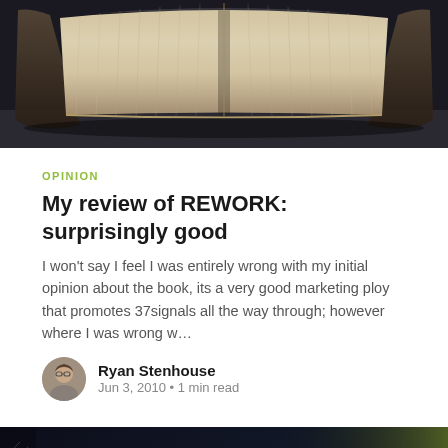[Figure (photo): Open book photographed from above, showing fanned pages against a dark background]
OPINION
My review of REWORK: surprisingly good
I won’t say I feel I was entirely wrong with my initial opinion about the book, its a very good marketing ploy that promotes 37signals all the way through; however where I was wrong w…
Ryan Stenhouse
Jun 3, 2010 • 1 min read
[Figure (screenshot): Dark background showing PHP code with colorful syntax highlighting, including function definitions, global variables, and WP_Query references]